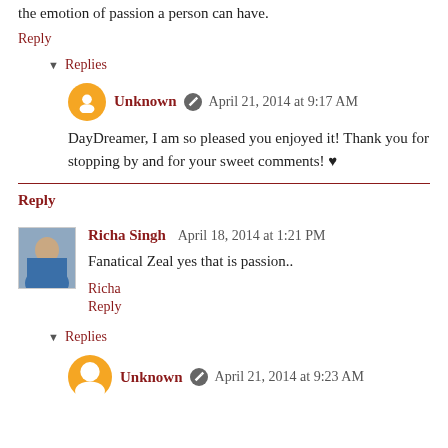the emotion of passion a person can have.
Reply
▾ Replies
Unknown  April 21, 2014 at 9:17 AM
DayDreamer, I am so pleased you enjoyed it! Thank you for stopping by and for your sweet comments! ♥
Reply
Richa Singh  April 18, 2014 at 1:21 PM
Fanatical Zeal yes that is passion..
Richa
Reply
▾ Replies
Unknown  April 21, 2014 at 9:23 AM